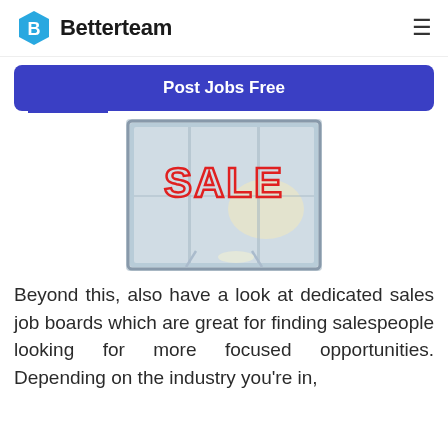Betterteam
[Figure (illustration): Blue hexagon badge with white letter B inside, Betterteam logo]
Post Jobs Free
[Figure (photo): Shop window with red outlined SALE text sign on glass]
Beyond this, also have a look at dedicated sales job boards which are great for finding salespeople looking for more focused opportunities. Depending on the industry you're in,